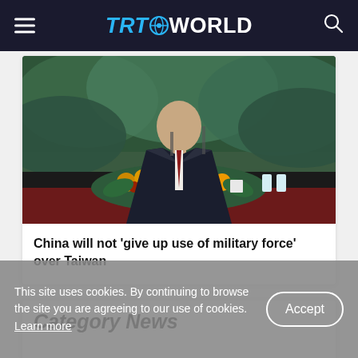TRT WORLD
[Figure (photo): A man in a dark suit and tie seated at a table with floral arrangements in front, speaking at a formal event, with green foliage in the background]
China will not 'give up use of military force' over Taiwan
Category News
This site uses cookies. By continuing to browse the site you are agreeing to our use of cookies. Learn more